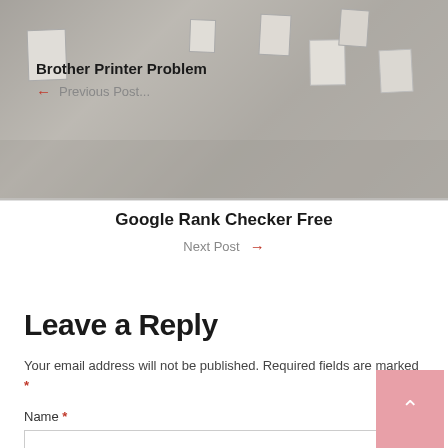[Figure (photo): Gray concrete wall background with paper notes/cards taped to it, used as a hero image banner.]
Brother Printer Problem
← Previous Post...
Google Rank Checker Free
Next Post →
Leave a Reply
Your email address will not be published. Required fields are marked *
Name *